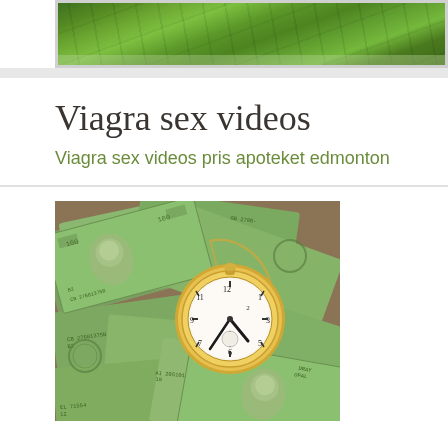[Figure (photo): Aerial photograph of green terraced fields or hills, partially visible at top of page]
Viagra sex videos
Viagra sex videos pris apoteket edmonton
[Figure (photo): Photograph of US hundred dollar bills spread out with a gold pocket watch on top]